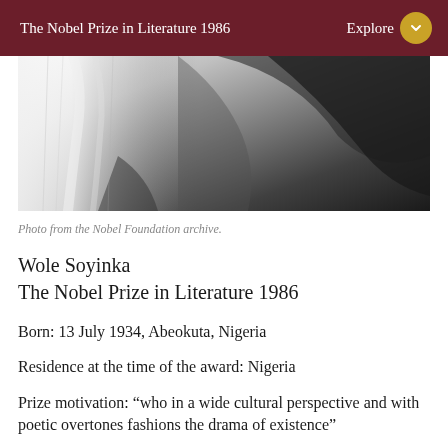The Nobel Prize in Literature 1986
[Figure (photo): Black and white close-up photograph from the Nobel Foundation archive, showing abstract dark shapes and textures]
Photo from the Nobel Foundation archive.
Wole Soyinka
The Nobel Prize in Literature 1986
Born: 13 July 1934, Abeokuta, Nigeria
Residence at the time of the award: Nigeria
Prize motivation: “who in a wide cultural perspective and with poetic overtones fashions the drama of existence”